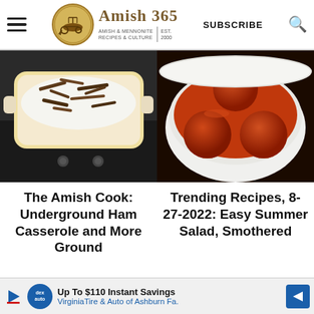Amish 365 - AMISH & MENNONITE RECIPES & CULTURE | EST. 2000 | SUBSCRIBE
[Figure (photo): A casserole dish with whipped cream topping and chocolate shavings sitting on a stove]
[Figure (photo): A white bowl filled with glazed meatballs in red sauce]
The Amish Cook: Underground Ham Casserole and More Ground
Trending Recipes, 8-27-2022: Easy Summer Salad, Smothered
Up To $110 Instant Savings VirginiaTire & Auto of Ashburn Fa.